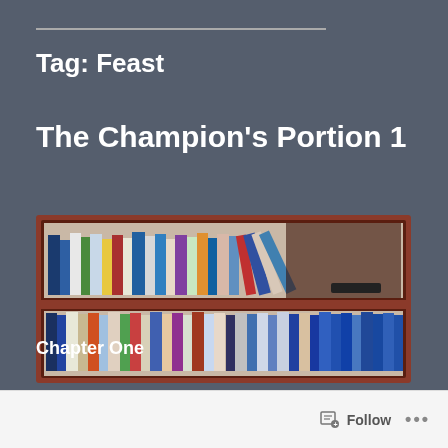Tag: Feast
The Champion's Portion 1
[Figure (photo): A wooden bookshelf with two shelves filled with many books of various colors and sizes.]
Chapter One
Follow ...